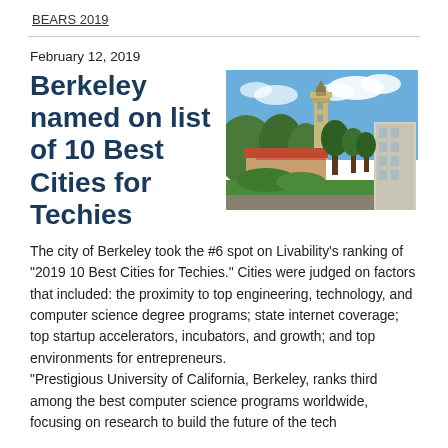BEARS 2019
February 12, 2019
Berkeley named on list of 10 Best Cities for Techies
[Figure (photo): Aerial photograph of UC Berkeley campus showing the Campanile tower, red-tile roofed buildings, trees, and a blue sky with clouds]
The city of Berkeley took the #6 spot on Livability's ranking of "2019 10 Best Cities for Techies."  Cities were judged on factors that included: the proximity to top engineering, technology, and computer science degree programs; state internet coverage; top startup accelerators, incubators, and growth; and top environments for entrepreneurs.
"Prestigious University of California, Berkeley, ranks third among the best computer science programs worldwide, focusing on research to build the future of the tech